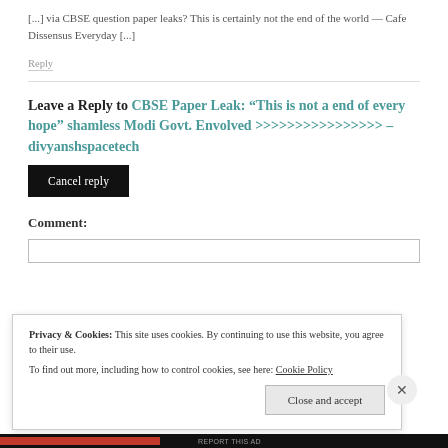[...] via CBSE question paper leaks? This is certainly not the end of the world — Cafe Dissensus Everyday [...]
Reply
Leave a Reply to CBSE Paper Leak: “This is not a end of every hope” shamless Modi Govt. Envolved >>>>>>>>>>>>>>>> – divyanshspacetech
Cancel reply
Comment:
Privacy & Cookies: This site uses cookies. By continuing to use this website, you agree to their use.
To find out more, including how to control cookies, see here: Cookie Policy
Close and accept